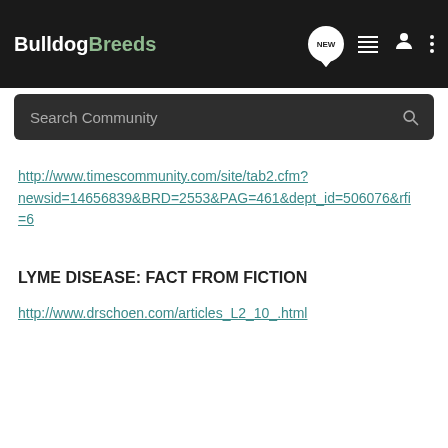BulldogBreeds
http://www.timescommunity.com/site/tab2.cfm?newsid=14656839&BRD=2553&PAG=461&dept_id=506076&rfi=6
LYME DISEASE: FACT FROM FICTION
http://www.drschoen.com/articles_L2_10_.html